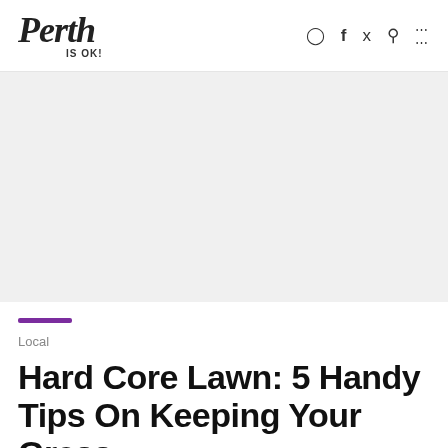Perth IS OK!
[Figure (photo): Light grey placeholder hero image area]
Local
Hard Core Lawn: 5 Handy Tips On Keeping Your Grass